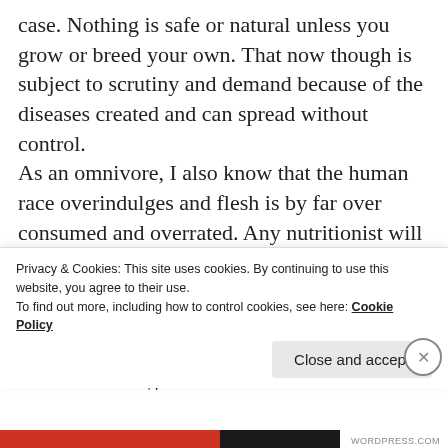case. Nothing is safe or natural unless you grow or breed your own. That now though is subject to scrutiny and demand because of the diseases created and can spread without control. As an omnivore, I also know that the human race overindulges and flesh is by far over consumed and overrated. Any nutritionist will tell you that a serve/portion is no bigger than the palm of your hand or 5% of your meal and should be once daily. All that we eat is for survival and health, overindulgence is not and leads to obesity, to heart disease and diabetes to name a couple, not
Privacy & Cookies: This site uses cookies. By continuing to use this website, you agree to their use.
To find out more, including how to control cookies, see here: Cookie Policy
Close and accept